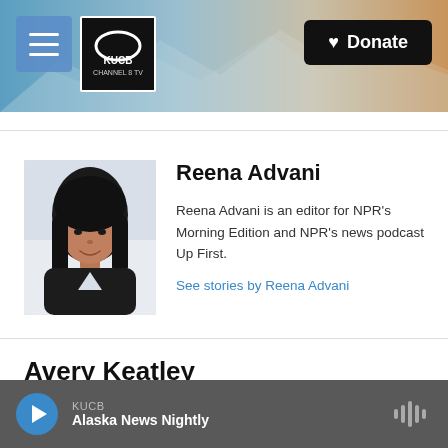KUCB Channel 8 TV — Donate
[Figure (photo): Headshot of Reena Advani, a woman with long dark hair wearing a dark sleeveless top, photographed against a light background]
Reena Advani
Reena Advani is an editor for NPR's Morning Edition and NPR's news podcast Up First.
See stories by Reena Advani
Avery Keatley
KUCB — Alaska News Nightly